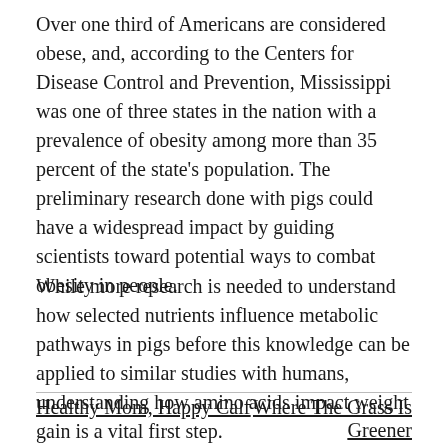Over one third of Americans are considered obese, and, according to the Centers for Disease Control and Prevention, Mississippi was one of three states in the nation with a prevalence of obesity among more than 35 percent of the state's population. The preliminary research done with pigs could have a widespread impact by guiding scientists toward potential ways to combat obesity in people.
While more research is needed to understand how selected nutrients influence metabolic pathways in pigs before this knowledge can be applied to similar studies with humans, understanding how amino acids impact weight gain is a vital first step.
Healthy Mom, Happy Calf
Where The Grass Is Greener